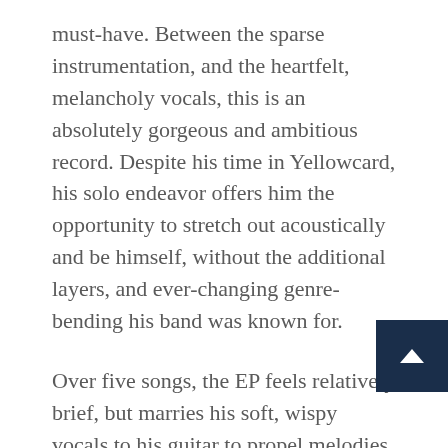must-have. Between the sparse instrumentation, and the heartfelt, melancholy vocals, this is an absolutely gorgeous and ambitious record. Despite his time in Yellowcard, his solo endeavor offers him the opportunity to stretch out acoustically and be himself, without the additional layers, and ever-changing genre-bending his band was known for.
Over five songs, the EP feels relatively brief, but marries his soft, wispy vocals to his guitar to propel melodies that are soothing and thoughtful. The lyrical prowess reminds one of Ryan’s former writing in Yellowcard. He still has a lot of emotions he’s trying to work out.
Despite the sparse instrumentation, there is an occasional violin melody which further fleshes out the songs to be more atmospheric and weighty.